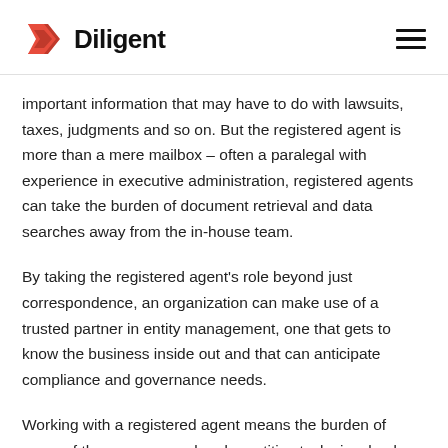Diligent
important information that may have to do with lawsuits, taxes, judgments and so on. But the registered agent is more than a mere mailbox – often a paralegal with experience in executive administration, registered agents can take the burden of document retrieval and data searches away from the in-house team.
By taking the registered agent's role beyond just correspondence, an organization can make use of a trusted partner in entity management, one that gets to know the business inside out and that can anticipate compliance and governance needs.
Working with a registered agent means the burden of some of the more manual and repetitive tasks involved